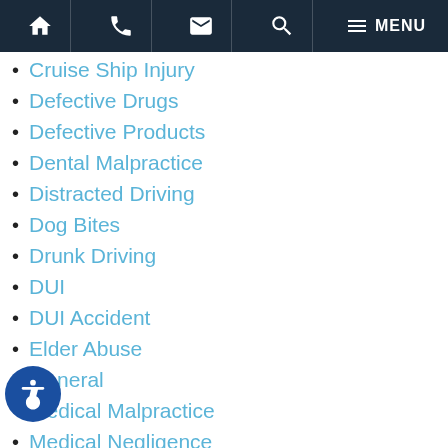Navigation bar with home, phone, email, search, menu icons
Cruise Ship Injury
Defective Drugs
Defective Products
Dental Malpractice
Distracted Driving
Dog Bites
Drunk Driving
DUI
DUI Accident
Elder Abuse
General
Medical Malpractice
Medical Negligence
Motor Vehicle Accident
Motorcycle Accidents
Nursing Home Abuse
Pedestrian Accidents
Personal Injury
PIP
Premises Liability